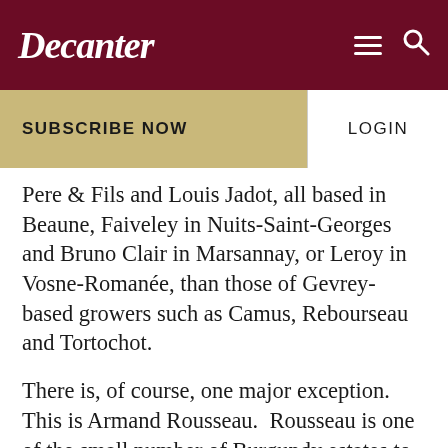Decanter
SUBSCRIBE NOW
LOGIN
Pere & Fils and Louis Jadot, all based in Beaune, Faiveley in Nuits-Saint-Georges and Bruno Clair in Marsannay, or Leroy in Vosne-Romanée, than those of Gevrey-based growers such as Camus, Rebourseau and Tortochot.
There is, of course, one major exception.  This is Armand Rousseau.  Rousseau is one of the small number of Burgundy estates to which I would unhesitatingly award three stars.  Indeed as far as